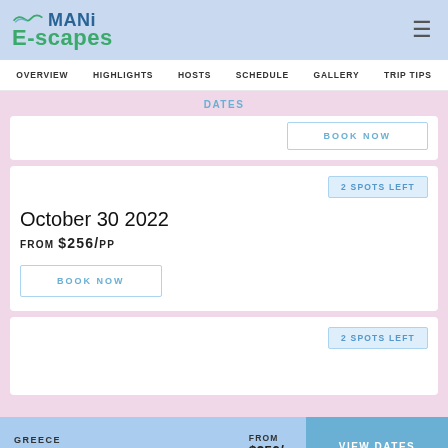MANi E-scapes
OVERVIEW  HIGHLIGHTS  HOSTS  SCHEDULE  GALLERY  TRIP TIPS
DATES
2 SPOTS LEFT
October 30 2022
FROM $256/pp
BOOK NOW
2 SPOTS LEFT
GREECE  SEPTEMBER - OCTOBER  ·  3 HOURS  FROM $256/pp  VIEW DATES